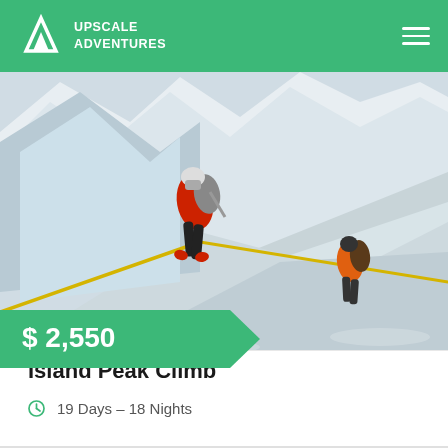UPSCALE ADVENTURES
[Figure (photo): Two mountain climbers ascending a steep snow-covered glacier slope with ice formations in the background. The lead climber wears red jacket and black pants with a large backpack, the second climber wears orange. They are roped together on the icy terrain.]
$ 2,550
Island Peak Climb
19 Days – 18 Nights